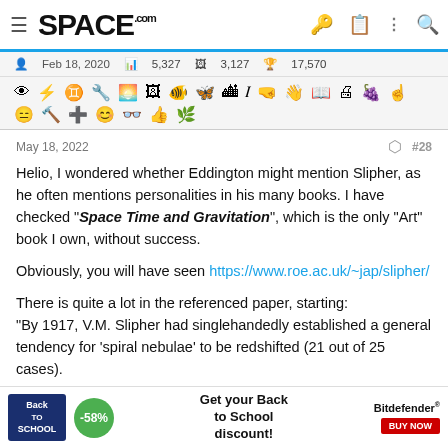SPACE.com
Feb 18, 2020  5,327  3,127  17,570
[Figure (infographic): Row of emoji/icon symbols used as forum reaction options]
May 18, 2022   < share   #28
Helio, I wondered whether Eddington might mention Slipher, as he often mentions personalities in his many books. I have checked "Space Time and Gravitation", which is the only "Art" book I own, without success.

Obviously, you will have seen https://www.roe.ac.uk/~jap/slipher/

There is quite a lot in the referenced paper, starting:
"By 1917, V.M. Slipher had singlehandedly established a general tendency for 'spiral nebulae' to be redshifted (21 out of 25 cases).
[Figure (infographic): Advertisement banner: Back to School -58% discount, Get your Back to School discount! Bitdefender BUY NOW]